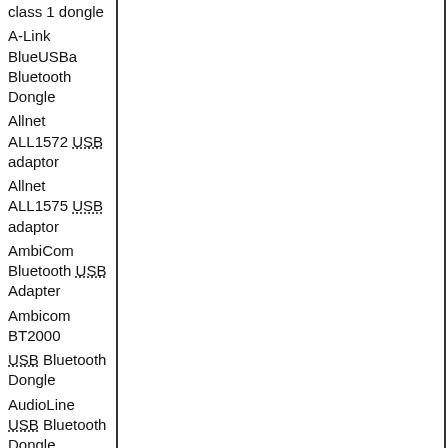class 1 dongle
A-Link BlueUSBa Bluetooth Dongle
Allnet ALL1572 USB adaptor
Allnet ALL1575 USB adaptor
AmbiCom Bluetooth USB Adapter
Ambicom BT2000
AudioLine USB Bluetooth Dongle
BAFO BF-8010